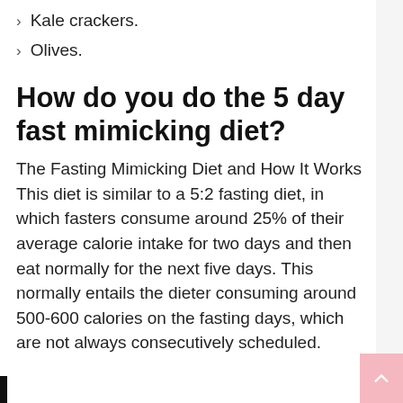Kale crackers.
Olives.
How do you do the 5 day fast mimicking diet?
The Fasting Mimicking Diet and How It Works This diet is similar to a 5:2 fasting diet, in which fasters consume around 25% of their average calorie intake for two days and then eat normally for the next five days. This normally entails the dieter consuming around 500-600 calories on the fasting days, which are not always consecutively scheduled.